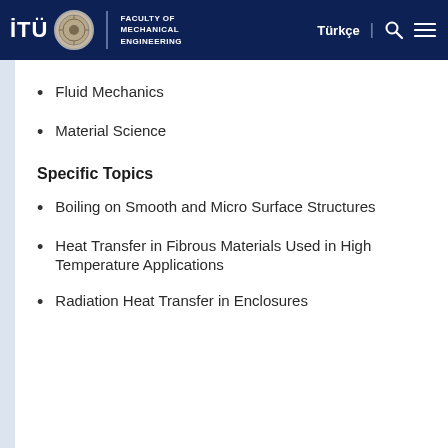İTÜ Faculty of Mechanical Engineering — Türkçe
Fluid Mechanics
Material Science
Specific Topics
Boiling on Smooth and Micro Surface Structures
Heat Transfer in Fibrous Materials Used in High Temperature Applications
Radiation Heat Transfer in Enclosures